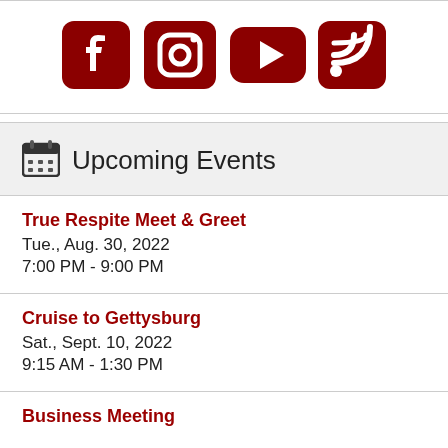[Figure (illustration): Social media icons: Facebook, Instagram, YouTube, RSS feed — all in dark red]
Upcoming Events
True Respite Meet & Greet
Tue., Aug. 30, 2022
7:00 PM - 9:00 PM
Cruise to Gettysburg
Sat., Sept. 10, 2022
9:15 AM - 1:30 PM
Business Meeting